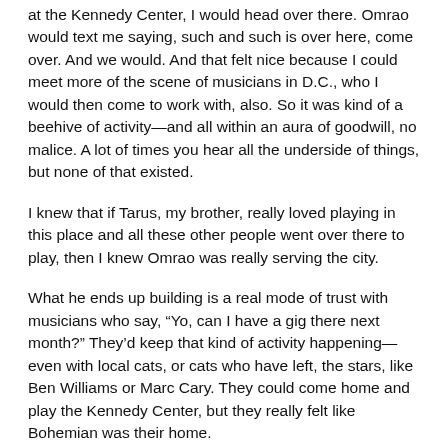at the Kennedy Center, I would head over there. Omrao would text me saying, such and such is over here, come over. And we would. And that felt nice because I could meet more of the scene of musicians in D.C., who I would then come to work with, also. So it was kind of a beehive of activity—and all within an aura of goodwill, no malice. A lot of times you hear all the underside of things, but none of that existed.
I knew that if Tarus, my brother, really loved playing in this place and all these other people went over there to play, then I knew Omrao was really serving the city.
What he ends up building is a real mode of trust with musicians who say, "Yo, can I have a gig there next month?" They'd keep that kind of activity happening—even with local cats, or cats who have left, the stars, like Ben Williams or Marc Cary. They could come home and play the Kennedy Center, but they really felt like Bohemian was their home.